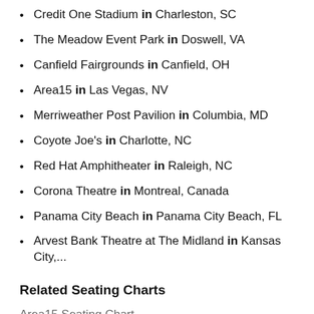Credit One Stadium in Charleston, SC
The Meadow Event Park in Doswell, VA
Canfield Fairgrounds in Canfield, OH
Area15 in Las Vegas, NV
Merriweather Post Pavilion in Columbia, MD
Coyote Joe's in Charlotte, NC
Red Hat Amphitheater in Raleigh, NC
Corona Theatre in Montreal, Canada
Panama City Beach in Panama City Beach, FL
Arvest Bank Theatre at The Midland in Kansas City,...
Related Seating Charts
Area15 Seating Chart
Canfield Fairgrounds Seating Chart
Credit One Stadium Seating Chart